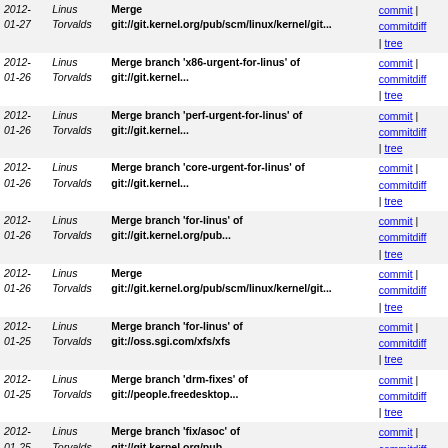| Date | Author | Commit message | Links |
| --- | --- | --- | --- |
| 2012-01-27 | Linus Torvalds | Merge git://git.kernel.org/pub/scm/linux/kernel/git... | commit | commitdiff | tree |
| 2012-01-26 | Linus Torvalds | Merge branch 'x86-urgent-for-linus' of git://git.kernel... | commit | commitdiff | tree |
| 2012-01-26 | Linus Torvalds | Merge branch 'perf-urgent-for-linus' of git://git.kernel... | commit | commitdiff | tree |
| 2012-01-26 | Linus Torvalds | Merge branch 'core-urgent-for-linus' of git://git.kernel... | commit | commitdiff | tree |
| 2012-01-26 | Linus Torvalds | Merge branch 'for-linus' of git://git.kernel.org/pub... | commit | commitdiff | tree |
| 2012-01-26 | Linus Torvalds | Merge git://git.kernel.org/pub/scm/linux/kernel/git... | commit | commitdiff | tree |
| 2012-01-25 | Linus Torvalds | Merge branch 'for-linus' of git://oss.sgi.com/xfs/xfs | commit | commitdiff | tree |
| 2012-01-25 | Linus Torvalds | Merge branch 'drm-fixes' of git://people.freedesktop... | commit | commitdiff | tree |
| 2012-01-25 | Linus Torvalds | Merge branch 'fix/asoc' of git://git.kernel.org/pub... | commit | commitdiff | tree |
| 2012-01-25 | Linus Torvalds | Merge tag 'for-linus' of git://git.kernel.org/pub/scm... | commit | commitdiff | tree |
| 2012-01-25 | Linus Torvalds | Merge branch 'for-linus' of git://git.kernel.org/pub... | commit | commitdiff | tree |
| 2012-01-25 | Linus Torvalds | Merge branch 'release' of git://git.kernel.org/pub... | commit | commitdiff | tree |
| 2012-01-25 | Linus Torvalds | Merge branch 'merge' of git://git.kernel.org/pub/scm... | commit | commitdiff | tree |